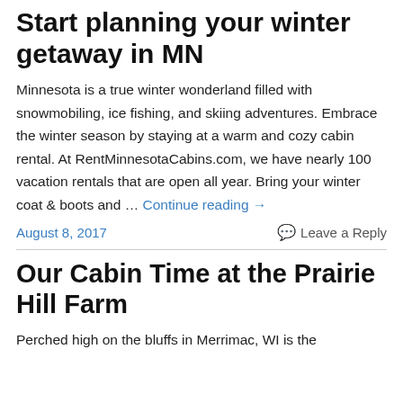Start planning your winter getaway in MN
Minnesota is a true winter wonderland filled with snowmobiling, ice fishing, and skiing adventures. Embrace the winter season by staying at a warm and cozy cabin rental. At RentMinnesotaCabins.com, we have nearly 100 vacation rentals that are open all year. Bring your winter coat & boots and … Continue reading →
August 8, 2017    Leave a Reply
Our Cabin Time at the Prairie Hill Farm
Perched high on the bluffs in Merrimac, WI is the